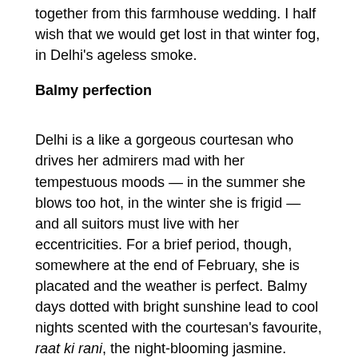together from this farmhouse wedding. I half wish that we would get lost in that winter fog, in Delhi's ageless smoke.
Balmy perfection
Delhi is a like a gorgeous courtesan who drives her admirers mad with her tempestuous moods — in the summer she blows too hot, in the winter she is frigid — and all suitors must live with her eccentricities. For a brief period, though, somewhere at the end of February, she is placated and the weather is perfect. Balmy days dotted with bright sunshine lead to cool nights scented with the courtesan's favourite, raat ki rani, the night-blooming jasmine.
Spring brings Delhi's gardens alive. We walk around Lodi Garden together but we're not calm. Young love is turbulent, and in this season of calm, we bring forth feverish arguments. We take rounds of that lovely garden and each one only adds